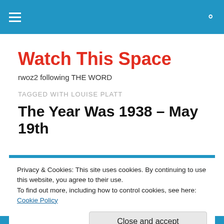Watch This Space — navigation bar with hamburger menu and search icon
Watch This Space
rwoz2 following THE WORD
TAGGED WITH LOUISE PLATT
The Year Was 1938 – May 19th
Privacy & Cookies: This site uses cookies. By continuing to use this website, you agree to their use.
To find out more, including how to control cookies, see here: Cookie Policy
Close and accept